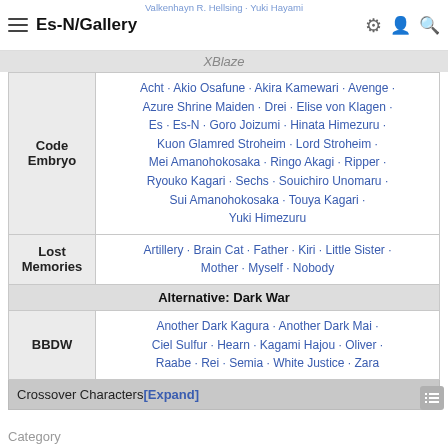Es-N/Gallery
Valkenhayn R. Hellsing · Yuki Hayami
XBlaze
|  | Characters |
| --- | --- |
| Code Embryo | Acht · Akio Osafune · Akira Kamewari · Avenge · Azure Shrine Maiden · Drei · Elise von Klagen · Es · Es-N · Goro Joizumi · Hinata Himezuru · Kuon Glamred Stroheim · Lord Stroheim · Mei Amanohokosaka · Ringo Akagi · Ripper · Ryouko Kagari · Sechs · Souichiro Unomaru · Sui Amanohokosaka · Touya Kagari · Yuki Himezuru |
| Lost Memories | Artillery · Brain Cat · Father · Kiri · Little Sister · Mother · Myself · Nobody |
| Alternative: Dark War |  |
| BBDW | Another Dark Kagura · Another Dark Mai · Ciel Sulfur · Hearn · Kagami Hajou · Oliver · Raabe · Rei · Semia · White Justice · Zara |
Crossover Characters [Expand]
Category